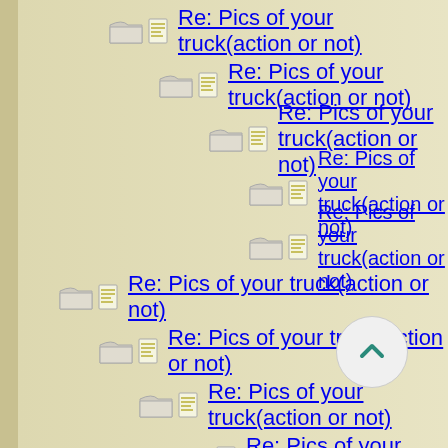Re: Pics of your truck(action or not)
Re: Pics of your truck(action or not)
Re: Pics of your truck(action or not)
Re: Pics of your truck(action or not)
Re: Pics of your truck(action or not)
Re: Pics of your truck(action or not)
Re: Pics of your truck(action or not)
Re: Pics of your truck(action or not)
Re: Pics of your truck(action or not)
Re: Pics of your truck(action or not)
Re: Pics of your truck(action or not)
Re: Pics of your truck(action or not)
Re: Pics of your truck(action or not)
Re: Pics of your truck(action or not)
Re: Pics of your truck(action or not)
Re: Pics of your truck(action or not)